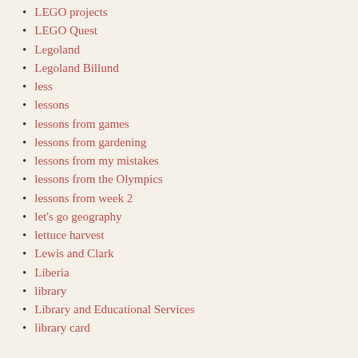LEGO projects
LEGO Quest
Legoland
Legoland Billund
less
lessons
lessons from games
lessons from gardening
lessons from my mistakes
lessons from the Olympics
lessons from week 2
let's go geography
lettuce harvest
Lewis and Clark
Liberia
library
Library and Educational Services
library card